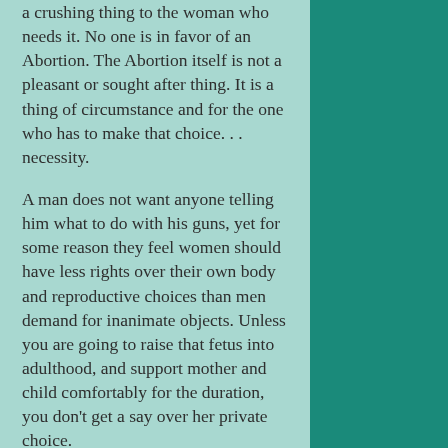a crushing thing to the woman who needs it. No one is in favor of an Abortion. The Abortion itself is not a pleasant or sought after thing. It is a thing of circumstance and for the one who has to make that choice... necessity.
A man does not want anyone telling him what to do with his guns, yet for some reason they feel women should have less rights over their own body and reproductive choices than men demand for inanimate objects. Unless you are going to raise that fetus into adulthood, and support mother and child comfortably for the duration, you don't get a say over her private choice.
By the pro-life argument, applied to men, women should have the right to tell you what to do with your sperm. Why stop with the fertilized egg having rights that trump the host? Why not also grant the sperm rights that trump the host?